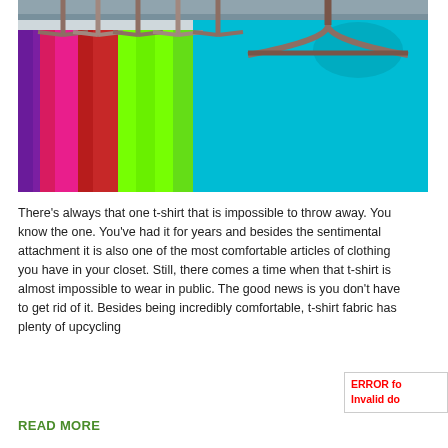[Figure (photo): Colorful t-shirts hanging on wooden hangers on a rack, ranging from purple, pink, red, green, to cyan/turquoise, viewed from the side.]
There’s always that one t-shirt that is impossible to throw away. You know the one. You’ve had it for years and besides the sentimental attachment it is also one of the most comfortable articles of clothing you have in your closet. Still, there comes a time when that t-shirt is almost impossible to wear in public. The good news is you don’t have to get rid of it. Besides being incredibly comfortable, t-shirt fabric has plenty of upcycling
READ MORE